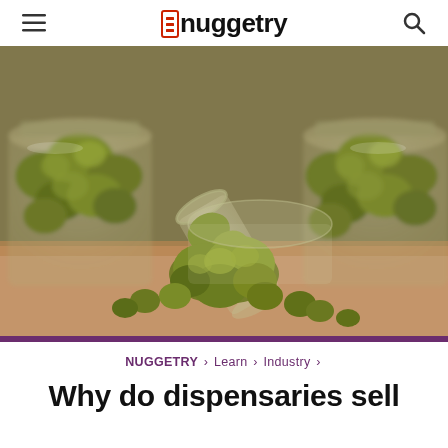≡ nuggetry 🔍
[Figure (photo): Glass jars filled with cannabis flower/buds on a wooden surface, with one jar tipped over spilling its contents]
NUGGETRY > Learn > Industry >
Why do dispensaries sell